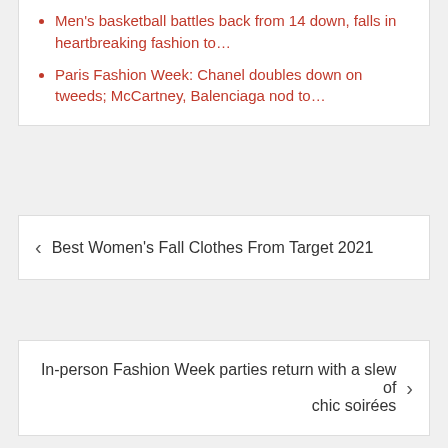Men's basketball battles back from 14 down, falls in heartbreaking fashion to…
Paris Fashion Week: Chanel doubles down on tweeds; McCartney, Balenciaga nod to…
< Best Women's Fall Clothes From Target 2021
In-person Fashion Week parties return with a slew of chic soirées >
Leave a Reply
Your email address will not be published. Required fields are marked *
Comment *